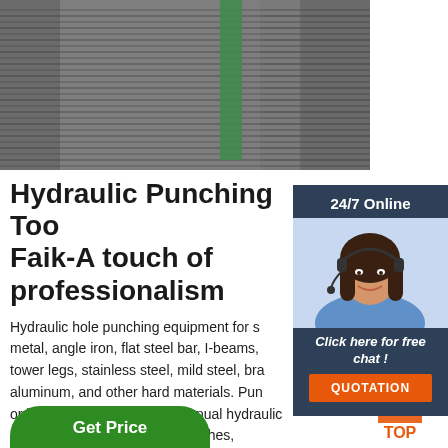[Figure (photo): Close-up photo of coiled wire rods or metal wire bundles with green banding straps]
[Figure (photo): 24/7 Online customer service agent - woman with headset smiling]
Hydraulic Punching Tool Faik-A touch of professionalism
Hydraulic hole punching equipment for sheet metal, angle iron, flat steel bar, I-beams, tower legs, stainless steel, mild steel, brass, aluminum, and other hard materials. Punches or kits available in hand or manual hydraulic punches, battery hydraulic punches, hydraulically powered from electric or petrol power source/pump.
Click here for free chat !
QUOTATION
Get Price